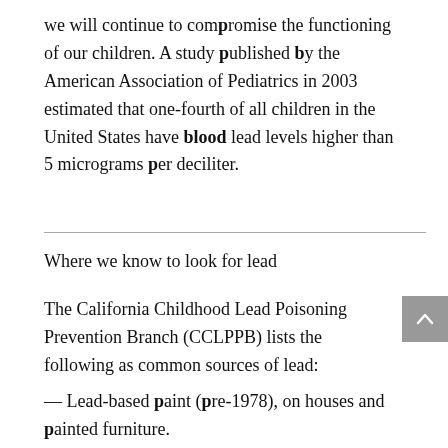we will continue to compromise the functioning of our children. A study published by the American Association of Pediatrics in 2003 estimated that one-fourth of all children in the United States have blood lead levels higher than 5 micrograms per deciliter.
Where we know to look for lead
The California Childhood Lead Poisoning Prevention Branch (CCLPPB) lists the following as common sources of lead:
— Lead-based paint (pre-1978), on houses and painted furniture.